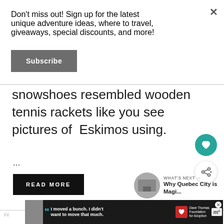Don't miss out! Sign up for the latest unique adventure ideas, where to travel, giveaways, special discounts, and more!
Subscribe
snowshoes resembled wooden tennis rackets like you see pictures of  Eskimos using.
...
READ MORE
WHAT'S NEXT → Why Quebec City is Magi...
Filed
[Figure (screenshot): Advertisement banner at bottom of page showing a boy, quote text 'I moved a bunch. I didn't want to move that much.', Dave Thomas Foundation for Adoption logo, and Wondermind logo]